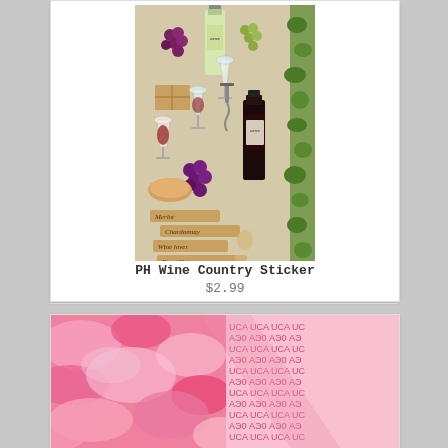[Figure (photo): PH Wine Country Sticker product image showing wine bottles, grapes, glasses, corks, and wine country items arranged in a sticker sheet format with green vine border]
PH Wine Country Sticker
$2.99
[Figure (photo): Pink camouflage patterned paper/product with overlapping diagonal half showing repeating small text/logo pattern on pink background]